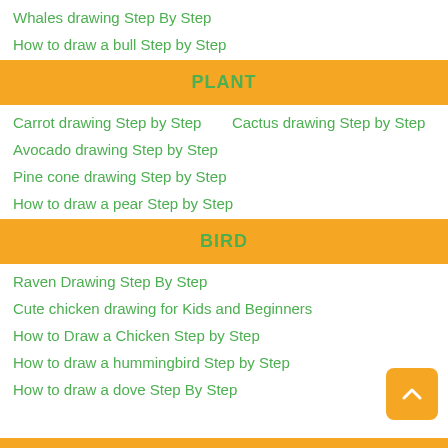Whales drawing Step By Step
How to draw a bull Step by Step
PLANT
Carrot drawing Step by Step
Cactus drawing Step by Step
Avocado drawing Step by Step
Pine cone drawing Step by Step
How to draw a pear Step by Step
BIRD
Raven Drawing Step By Step
Cute chicken drawing for Kids and Beginners
How to Draw a Chicken Step by Step
How to draw a hummingbird Step by Step
How to draw a dove Step By Step